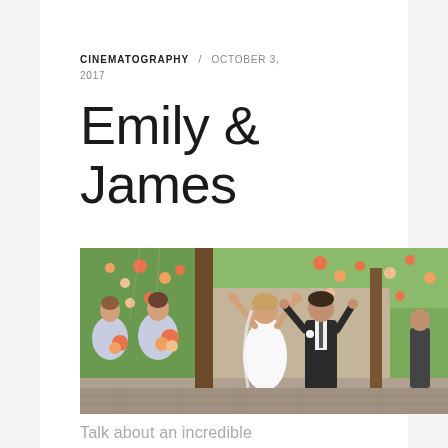CINEMATOGRAPHY / OCTOBER 3, 2017
Emily & James
[Figure (photo): Wedding photo showing a bride in a white dress and groom in a dark suit with arms raised in celebration, with two bridesmaids in light grey dresses holding orange bouquets on the left, all set against a backdrop of hanging floral decorations with orange and white flowers and lush green foliage.]
Talk about an incredible